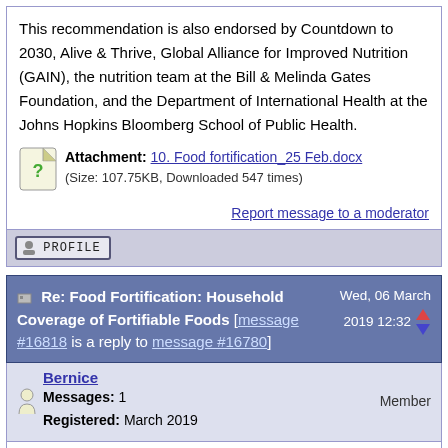This recommendation is also endorsed by Countdown to 2030, Alive & Thrive, Global Alliance for Improved Nutrition (GAIN), the nutrition team at the Bill & Melinda Gates Foundation, and the Department of International Health at the Johns Hopkins Bloomberg School of Public Health.
Attachment: 10. Food fortification_25 Feb.docx (Size: 107.75KB, Downloaded 547 times)
Report message to a moderator
profile
Re: Food Fortification: Household Coverage of Fortifiable Foods [message #16818 is a reply to message #16780]
Wed, 06 March 2019 12:32
Bernice   Member
Messages: 1
Registered: March 2019
Have we considered households' awareness of what nutrients are used to fortify the products they use? In the region where I work,